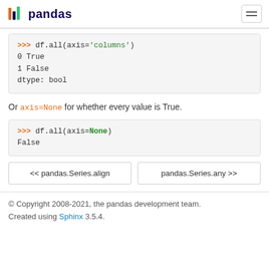pandas
>>> df.all(axis='columns')
0      True
1    False
dtype: bool
Or axis=None for whether every value is True.
>>> df.all(axis=None)
False
<< pandas.Series.align
pandas.Series.any >>
© Copyright 2008-2021, the pandas development team. Created using Sphinx 3.5.4.